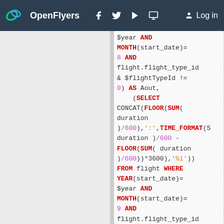OpenFlyers | Log in
SQL code snippet showing MySQL query with YEAR, MONTH, FLOOR, SUM, CONCAT, TIME_FORMAT functions for flight duration calculations